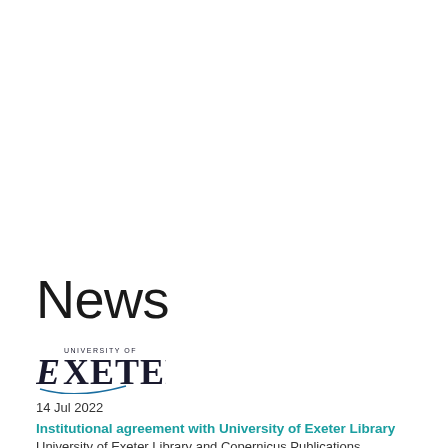News
[Figure (logo): University of Exeter logo with stylized E and curved line, text reads UNIVERSITY OF EXETER]
14 Jul 2022
Institutional agreement with University of Exeter Library
University of Exeter Library and Copernicus Publications